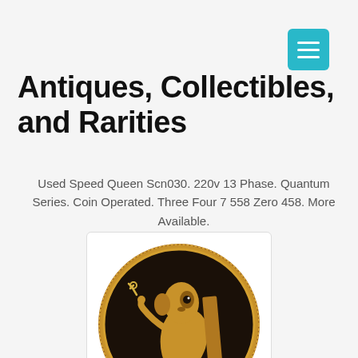[Figure (other): Teal/cyan hamburger menu button icon in top right corner]
Antiques, Collectibles, and Rarities
Used Speed Queen Scn030. 220v 13 Phase. Quantum Series. Coin Operated. Three Four 7 558 Zero 458. More Available.
[Figure (photo): A gold collectible coin featuring an engraved goblin or gnome-like creature holding something, detailed relief artwork on a dark background]